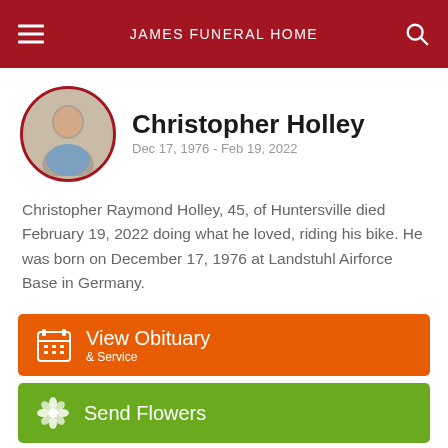JAMES FUNERAL HOME
Christopher Holley
Dec 17, 1976 - Feb 19, 2022
Christopher Raymond Holley, 45, of Huntersville died February 19, 2022 doing what he loved, riding his bike. He was born on December 17, 1976 at Landstuhl Airforce Base in Germany.
View Obituary & Service
Send Flowers
Share